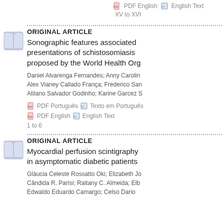PDF English   English Text
XV to XVI
ORIGINAL ARTICLE
Sonographic features associated presentations of schistosomiasis proposed by the World Health Org
Daniel Alvarenga Fernandes; Anny Carolin Alex Vianey Callado França; Frederico San Atilano Salvador Godinho; Karine Garcez S
PDF Português   Texto em Português
PDF English   English Text
1 to 6
ORIGINAL ARTICLE
Myocardial perfusion scintigraphy in asymptomatic diabetic patients
Gláucia Celeste Rossatto Oki; Elizabeth Jo Cândida R. Parisi; Raitany C. Almeida; Elb Edwaldo Eduardo Camargo; Celso Dario